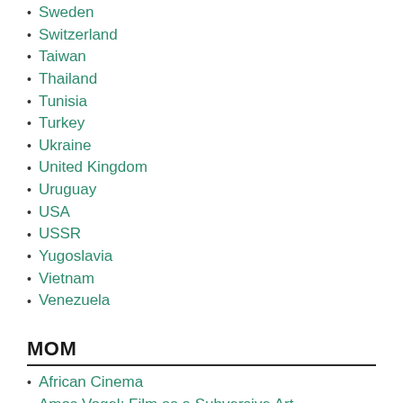Sweden
Switzerland
Taiwan
Thailand
Tunisia
Turkey
Ukraine
United Kingdom
Uruguay
USA
USSR
Yugoslavia
Vietnam
Venezuela
MOM
African Cinema
Amos Vogel: Film as a Subversive Art
Architecture